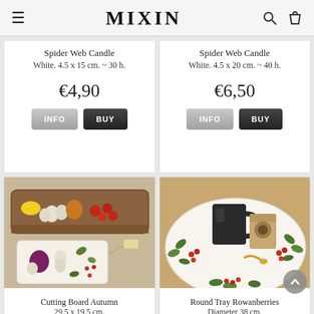MIXIN
Spider Web Candle
White. 4.5 x 15 cm. ~ 30 h.
€4,90
Spider Web Candle
White. 4.5 x 20 cm. ~ 40 h.
€6,50
[Figure (photo): Cutting board with autumn vegetables including garlic, red onion, tomatoes, and a decorative illustrated cutting board with vegetable motifs on a wooden tray]
Cutting Board Autumn
29.5 x 19.5 cm.
[Figure (photo): Round decorative tray with rowan berry and leaf pattern, holding a black mug and a small paper bag with golden spoon]
Round Tray Rowanberries
Diameter 38 cm.